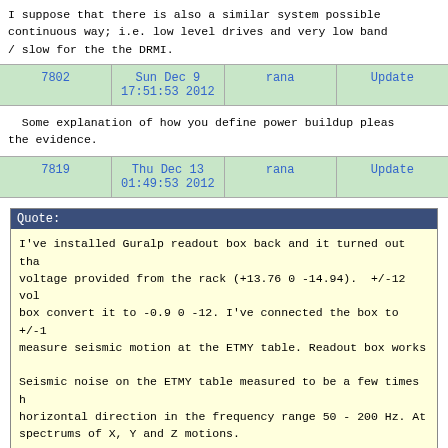I suppose that there is also a similar system possible continuous way; i.e. low level drives and very low band / slow for the the DRMI.
| 7802 | Sun Dec 9 17:51:53 2012 | rana | Update |
| --- | --- | --- | --- |
Some explanation of how you define power buildup please the evidence.
| 7819 | Thu Dec 13 01:49:53 2012 | rana | Update |
| --- | --- | --- | --- |
Quote:
I've installed Guralp readout box back and it turned out that voltage provided from the rack (+13.76 0 -14.94). +/-12 vol box convert it to -0.9 0 -12. I've connected the box to +/-1 measure seismic motion at the ETMY table. Readout box works

Seismic noise on the ETMY table measured to be a few times h horizontal direction in the frequency range 50 - 200 Hz. At spectrums of X, Y and Z motions.
Looking at the PEM BLRMS, I noticed that the GUR1Z cha mission compared to the GUR1X. Looking at the BLRMS